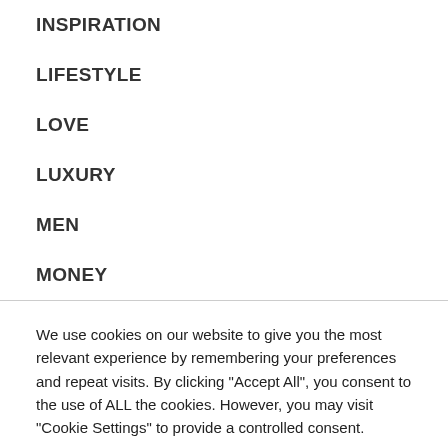INSPIRATION
LIFESTYLE
LOVE
LUXURY
MEN
MONEY
We use cookies on our website to give you the most relevant experience by remembering your preferences and repeat visits. By clicking "Accept All", you consent to the use of ALL the cookies. However, you may visit "Cookie Settings" to provide a controlled consent.
Cookie Settings | Accept All